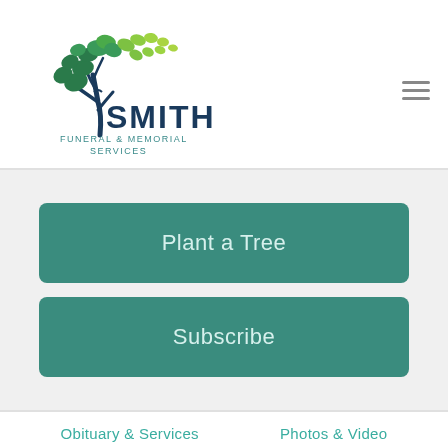[Figure (logo): Smith Funeral & Memorial Services logo with a tree made of green leaves and a dark trunk, with text SMITH FUNERAL & MEMORIAL SERVICES]
Plant a Tree
Subscribe
Obituary & Services
Photos & Video